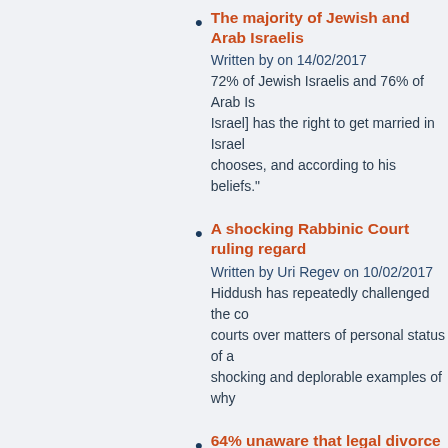The majority of Jewish and Arab Israelis...
Written by on 14/02/2017
72% of Jewish Israelis and 76% of Arab Is... Israel] has the right to get married in Israel... chooses, and according to his beliefs."
A shocking Rabbinic Court ruling regar...
Written by Uri Regev on 10/02/2017
Hiddush has repeatedly challenged the co... courts over matters of personal status of a... shocking and deplorable examples of why...
64% unaware that legal divorce availabl...
Written by on 26/05/2016
Two-thirds of the Jewish Israeli population... divorced through Israel's rabbinical courts,... 57% of the public underestimate the numb... cannot get legally married.
64% unaware that legal divorce availabl...
Written by on 26/05/2016
Two-thirds of the Jewish Israeli population... divorced through Israel's rabbinical courts,...